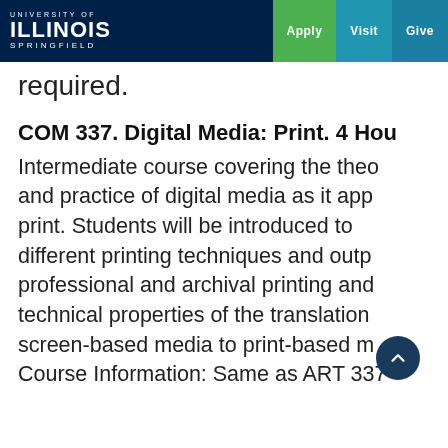UNIVERSITY OF ILLINOIS SPRINGFIELD | Apply | Visit | Give
required.
COM 337. Digital Media: Print. 4 Hours
Intermediate course covering the theory and practice of digital media as it applies to print. Students will be introduced to different printing techniques and output, professional and archival printing and technical properties of the translation of screen-based media to print-based media. Course Information: Same as ART 337.